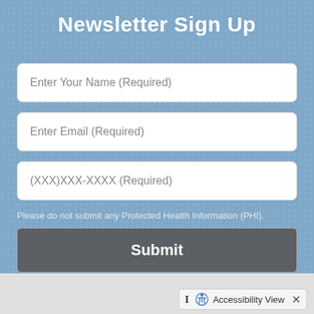Newsletter Sign Up
Enter Your Name (Required)
Enter Email (Required)
(XXX)XXX-XXXX (Required)
Please do not submit any Protected Health Information (PHI).
Submit
Accessibility View